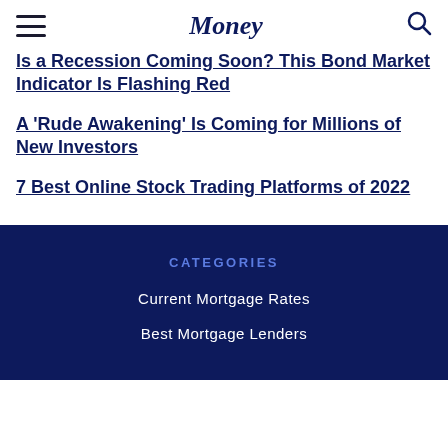Money
Is a Recession Coming Soon? This Bond Market Indicator Is Flashing Red
A 'Rude Awakening' Is Coming for Millions of New Investors
7 Best Online Stock Trading Platforms of 2022
CATEGORIES
Current Mortgage Rates
Best Mortgage Lenders